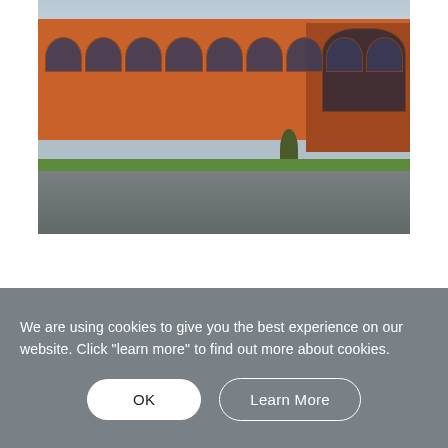[Figure (photo): Exterior photograph of a large red-brick industrial or institutional building with arched windows along the facade, a pale green/yellow roof strip, a lawn strip, and a road in the foreground. Taken on an overcast day.]
We are using cookies to give you the best experience on our website. Click "learn more" to find out more about cookies.